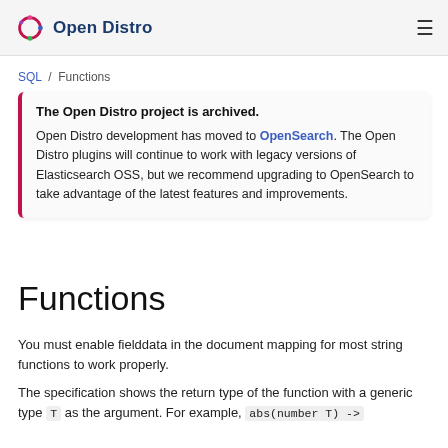Open Distro
SQL / Functions
The Open Distro project is archived.

Open Distro development has moved to OpenSearch. The Open Distro plugins will continue to work with legacy versions of Elasticsearch OSS, but we recommend upgrading to OpenSearch to take advantage of the latest features and improvements.
Functions
You must enable fielddata in the document mapping for most string functions to work properly.
The specification shows the return type of the function with a generic type T as the argument. For example, abs(number T) ->